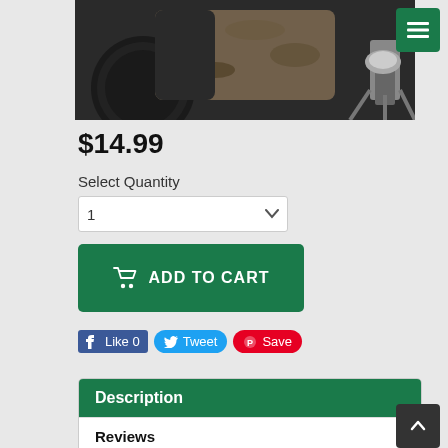[Figure (photo): Product photo of a camera lens with neoprene cover and lens cap, in camouflage pattern, mounted on a tripod]
$14.99
Select Quantity
ADD TO CART
Like 0
Tweet
Save
Description
Reviews